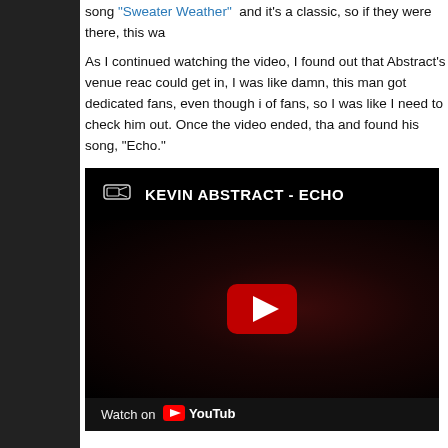song "Sweater Weather" and it's a classic, so if they were there, this wa
As I continued watching the video, I found out that Abstract's venue reac could get in, I was like damn, this man got dedicated fans, even though i of fans, so I was like I need to check him out. Once the video ended, tha and found his song, “Echo.”
[Figure (screenshot): Embedded YouTube video player showing KEVIN ABSTRACT - ECHO, with a dark background featuring a red-toned scene, YouTube play button in center, and 'Watch on YouTube' bar at bottom.]